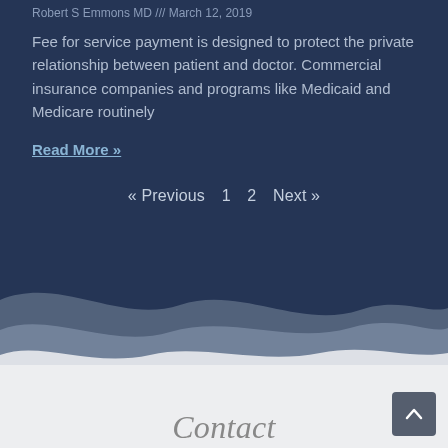Robert S Emmons MD /// March 12, 2019
Fee for service payment is designed to protect the private relationship between patient and doctor. Commercial insurance companies and programs like Medicaid and Medicare routinely
Read More »
« Previous  1  2  Next »
[Figure (illustration): Decorative wave divider with dark navy blue, medium gray-blue, and light gray layered wave shapes transitioning from dark top section to light bottom section]
Contact